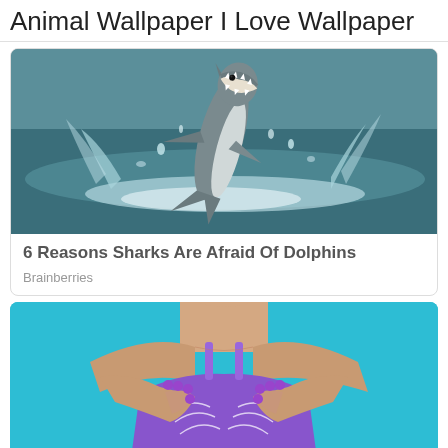Animal Wallpaper I Love Wallpaper
[Figure (photo): A great white shark leaping out of the ocean water with its mouth open, surrounded by splashing water.]
6 Reasons Sharks Are Afraid Of Dolphins
Brainberries
[Figure (photo): A woman in a purple swimsuit with purple nail polish, hands crossed over her chest, against a teal/cyan background.]